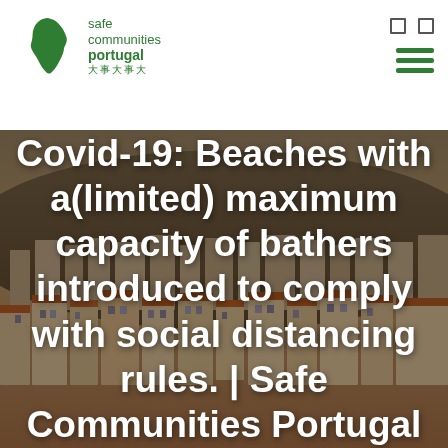safe communities portugal
[Figure (screenshot): Hero image of Lisbon cityscape with terracotta rooftops and hillside buildings, overlaid with white bold text title about Covid-19 beach capacity rules.]
Covid-19: Beaches with a(limited) maximum capacity of bathers introduced to comply with social distancing rules. | Safe Communities Portugal